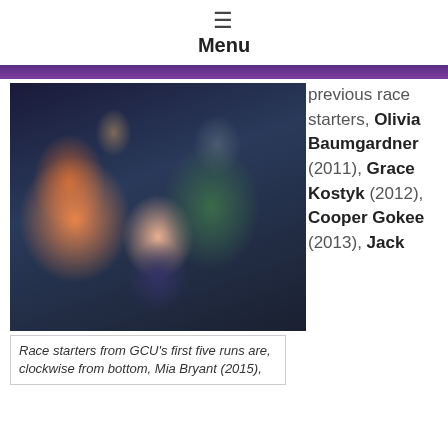Menu
[Figure (photo): Group photo of four children smiling: a girl in an orange striped shirt on the left, a boy in dark shirt at back center, a girl in plaid shirt on the right, and a small child wearing a pink knit hat with a bow in the center front.]
previous race starters, Olivia Baumgardner (2011), Grace Kostyk (2012), Cooper Gokee (2013), Jack
Race starters from GCU's first five runs are, clockwise from bottom, Mia Bryant (2015),